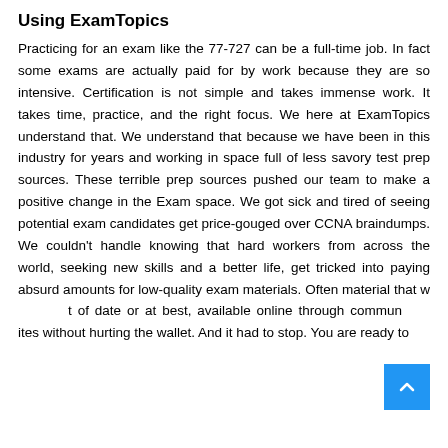Using ExamTopics
Practicing for an exam like the 77-727 can be a full-time job. In fact some exams are actually paid for by work because they are so intensive. Certification is not simple and takes immense work. It takes time, practice, and the right focus. We here at ExamTopics understand that. We understand that because we have been in this industry for years and working in space full of less savory test prep sources. These terrible prep sources pushed our team to make a positive change in the Exam space. We got sick and tired of seeing potential exam candidates get price-gouged over CCNA braindumps. We couldn't handle knowing that hard workers from across the world, seeking new skills and a better life, get tricked into paying absurd amounts for low-quality exam materials. Often material that was out of date or at best, available online through community sites without hurting the wallet. And it had to stop. You are ready to